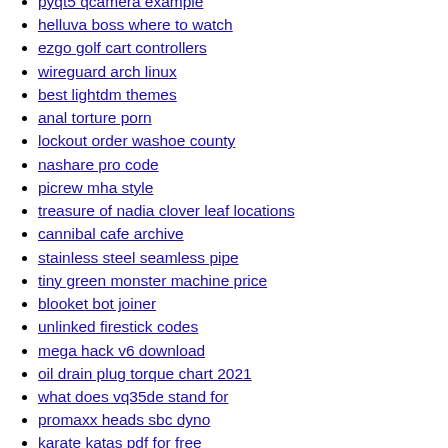pyqt5 qcamera example
helluva boss where to watch
ezgo golf cart controllers
wireguard arch linux
best lightdm themes
anal torture porn
lockout order washoe county
nashare pro code
picrew mha style
treasure of nadia clover leaf locations
cannibal cafe archive
stainless steel seamless pipe
tiny green monster machine price
blooket bot joiner
unlinked firestick codes
mega hack v6 download
oil drain plug torque chart 2021
what does vq35de stand for
promaxx heads sbc dyno
karate katas pdf for free
intitle index of password
slingshot crossbow plans
cartoonz merch
roblox give boombox script pastebin
bbc forced impregnation